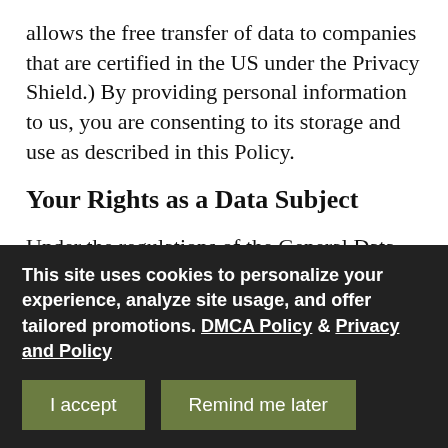allows the free transfer of data to companies that are certified in the US under the Privacy Shield.) By providing personal information to us, you are consenting to its storage and use as described in this Policy.
Your Rights as a Data Subject
Under the regulations of the General Data Protection Regulation (“GDPR”) of the EU you have certain rights as a Data Subject. These rights are as follows:
The right to be informed: this means we must inform you of how we intend to use your personal
This site uses cookies to personalize your experience, analyze site usage, and offer tailored promotions. DMCA Policy & Privacy and Policy